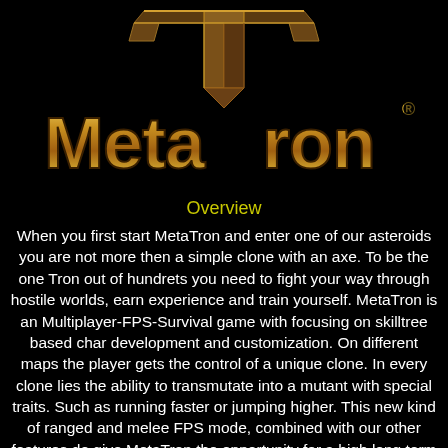[Figure (logo): MetaTron game logo with gold metallic letters 'MetaTron' and a large T-shaped bronze emblem above, registered trademark symbol, on black background]
Overview
When you first start MetaTron and enter one of our asteroids you are not more then a simple clone with an axe. To be the one Tron out of hundrets you need to fight your way through hostile worlds, earn experience and train yourself. MetaTron is an Multiplayer-FPS-Survival game with focusing on skilltree based char development and customization. On different maps the player gets the control of a unique clone. In every clone lies the ability to transmutate into a mutant with special traits. Such as running faster or jumping higher. This new kind of ranged and melee FPS mode, combined with our other features do give MetaTron the opportunity for a high long term motivation curve for our gaming community.